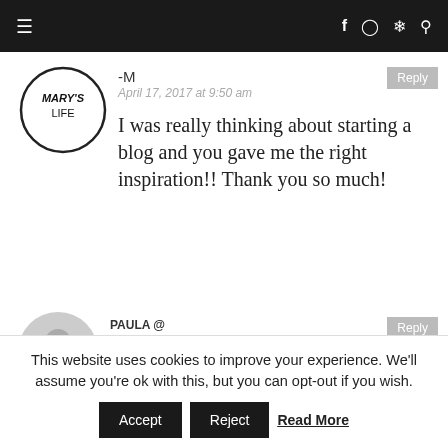very true. :)
[Figure (screenshot): Navigation bar with hamburger menu on left and social icons (f, Instagram, Pinterest, search) on right, dark background]
[Figure (logo): Mary's Life circular logo with text MARY'S LIFE inside a circle]
-M
April 17, 2017 at 9:50 am
I was really thinking about starting a blog and you gave me the right inspiration!! Thank you so much!
[Figure (illustration): Generic grey circular avatar for user Paula]
PAULA @ THIRTEENTHOUGHTS.C
This website uses cookies to improve your experience. We'll assume you're ok with this, but you can opt-out if you wish.
Accept   Reject   Read More